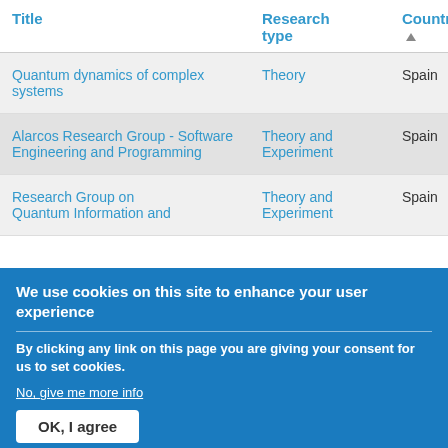| Title | Research type | Country |
| --- | --- | --- |
| Quantum dynamics of complex systems | Theory | Spain |
| Alarcos Research Group - Software Engineering and Programming | Theory and Experiment | Spain |
| Research Group on Quantum Information and | Theory and Experiment | Spain |
We use cookies on this site to enhance your user experience
By clicking any link on this page you are giving your consent for us to set cookies.
No, give me more info
OK, I agree